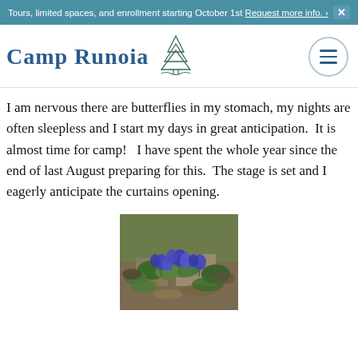Tours, limited spaces, and enrollment starting October 1st Request more info. ›  ×
[Figure (logo): Camp Runoia logo with pine tree illustration and text 'CAMP RUNOIA']
I am nervous there are butterflies in my stomach, my nights are often sleepless and I start my days in great anticipation.  It is almost time for camp!   I have spent the whole year since the end of last August preparing for this.  The stage is set and I eagerly anticipate the curtains opening.
[Figure (photo): Photograph of blue/purple flowers growing among leaves and rocks on the ground]